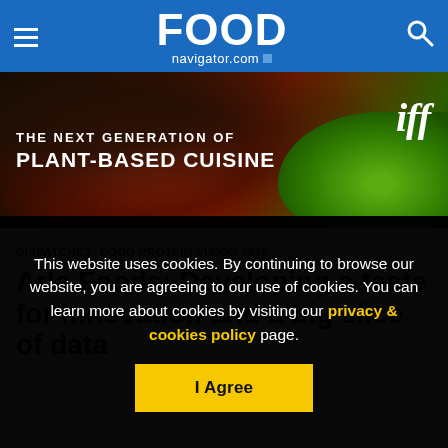FOOD navigator.com
[Figure (illustration): Banner advertisement for IFF featuring plant-based cuisine with text 'THE NEXT GENERATION OF PLANT-BASED CUISINE' and IFF logo]
DISPATCHES: FOOD PROTEIN VISION 2018
Arla Foods: Developing a taste for innovation and a big slice of data
This website uses cookies. By continuing to browse our website, you are agreeing to our use of cookies. You can learn more about cookies by visiting our privacy & cookies policy page.
I Agree